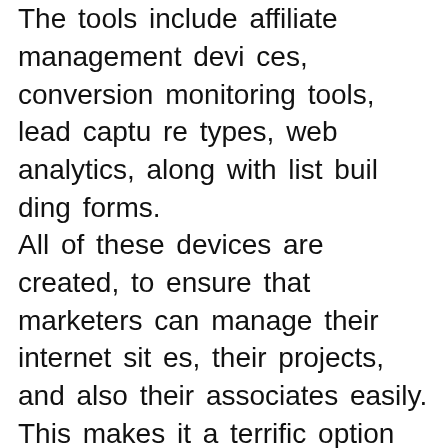The tools include affiliate management devices, conversion monitoring tools, lead capture types, web analytics, along with list building forms.
All of these devices are created, to ensure that marketers can manage their internet sites, their projects, and also their associates easily. This makes it a terrific option for those who desire the very best as well as most reliable option for all of their advertising needs.
When it concerns creating a touchdown page contractor, there are a lot of advantages that you can receive from it. To begin with, it allows you to produce a touchdown page that is completely automated as well as mana